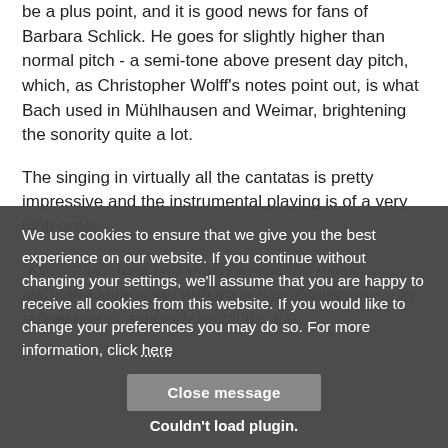be a plus point, and it is good news for fans of Barbara Schlick. He goes for slightly higher than normal pitch - a semi-tone above present day pitch, which, as Christopher Wolff's notes point out, is what Bach used in Mühlhausen and Weimar, brightening the sonority quite a lot.
The singing in virtually all the cantatas is pretty impressive and the instrumental playing is of a very high order.
"Koopman's directing vitality keeps the music spontaneously alive, with no sense of over-refinement or scholarly rectitude; the recording is first class, and the documentation could hardly be
We use cookies to ensure that we give you the best experience on our website. If you continue without changing your settings, we'll assume that you are happy to receive all cookies from this website. If you would like to change your preferences you may do so. For more information, click here
Close message
Couldn't load plugin.